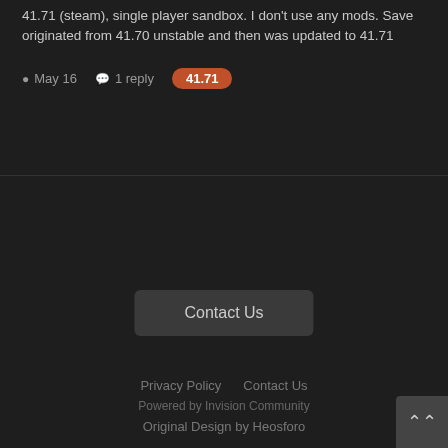41.71 (steam), single player sandbox. I don't use any mods. Save originated from 41.70 unstable and then was updated to 41.71
May 16   1 reply   41.71
Contact Us
Privacy Policy   Contact Us
Powered by Invision Community
Original Design by Heosforo